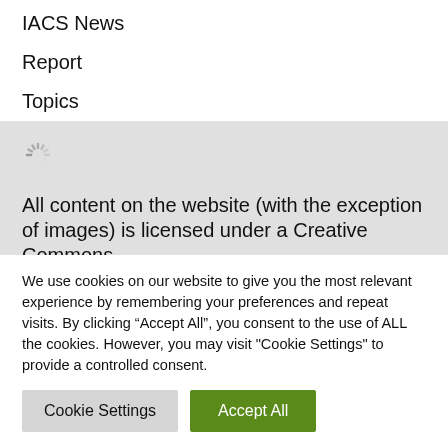IACS News
Report
Topics
[Figure (other): Loading spinner icon (circular dashed spinner)]
All content on the website (with the exception of images) is licensed under a Creative Commons
We use cookies on our website to give you the most relevant experience by remembering your preferences and repeat visits. By clicking “Accept All”, you consent to the use of ALL the cookies. However, you may visit "Cookie Settings" to provide a controlled consent.